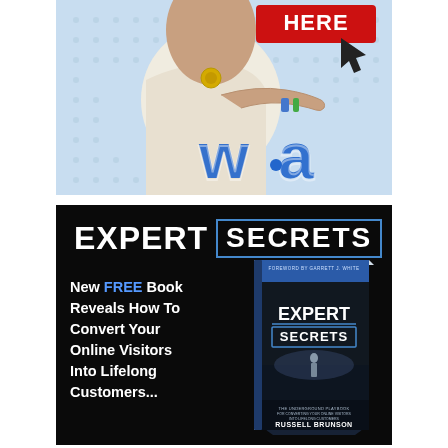[Figure (illustration): Illustrated cartoon of a person pointing at a 'CLICK HERE' button with a cursor arrow, with a blue stylized 'WA' logo below, set against a light blue hexagonal pattern background.]
[Figure (advertisement): Expert Secrets book advertisement on black background. Title reads 'EXPERT SECRETS' with SECRETS in a blue-bordered box. Left side text: 'New FREE Book Reveals How To Convert Your Online Visitors Into Lifelong Customers...' with FREE in blue. Right side shows a 3D book cover for 'Expert Secrets' by Russell Brunson, subtitled 'The Underground Playbook for Converting Your Online Visitors into Lifelong Customers'.]